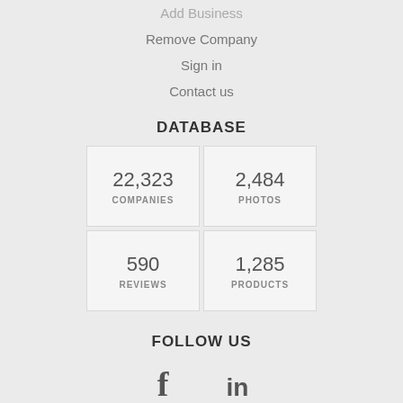Add Business
Remove Company
Sign in
Contact us
DATABASE
| 22,323 | COMPANIES | 2,484 | PHOTOS |
| 590 | REVIEWS | 1,285 | PRODUCTS |
FOLLOW US
[Figure (other): Social media icons: Facebook (f) and LinkedIn (in)]